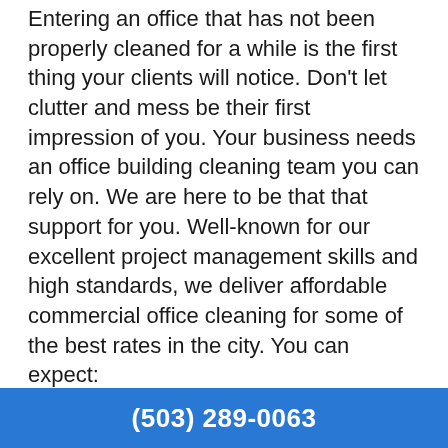Entering an office that has not been properly cleaned for a while is the first thing your clients will notice. Don't let clutter and mess be their first impression of you. Your business needs an office building cleaning team you can rely on. We are here to be that that support for you. Well-known for our excellent project management skills and high standards, we deliver affordable commercial office cleaning for some of the best rates in the city. You can expect:
Strict confidentiality qualifications and training for all staff.
Top credentials including licensing, bonding, and insurance.
(503) 289-0063